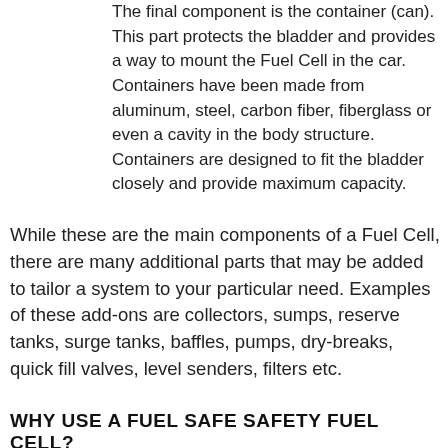The final component is the container (can). This part protects the bladder and provides a way to mount the Fuel Cell in the car. Containers have been made from aluminum, steel, carbon fiber, fiberglass or even a cavity in the body structure. Containers are designed to fit the bladder closely and provide maximum capacity.
While these are the main components of a Fuel Cell, there are many additional parts that may be added to tailor a system to your particular need. Examples of these add-ons are collectors, sumps, reserve tanks, surge tanks, baffles, pumps, dry-breaks, quick fill valves, level senders, filters etc.
WHY USE A FUEL SAFE SAFETY FUEL CELL?